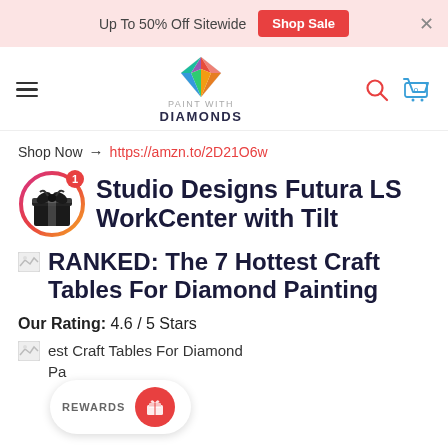Up To 50% Off Sitewide  Shop Sale  ×
[Figure (logo): Paint With Diamonds diamond logo with hamburger menu, search and cart icons]
Shop Now → https://amzn.to/2D21O6w
Studio Designs Futura LS WorkCenter with Tilt
RANKED: The 7 Hottest Craft Tables For Diamond Painting
Our Rating: 4.6 / 5 Stars
est Craft Tables For Diamond Pa…